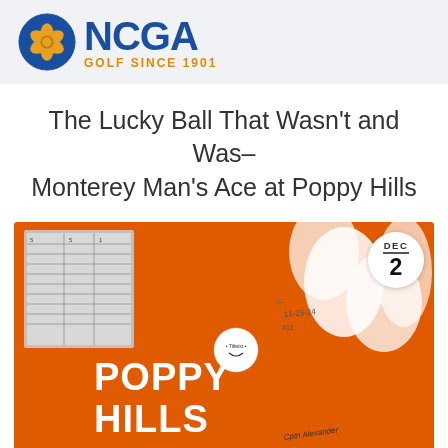[Figure (logo): NCGA logo with blue circle containing a golden poppy flower, text NCGA in bold blue, tagline GOLF SINCE 1901 in orange]
The Lucky Ball That Wasn’t and Was–Monterey Man’s Ace at Poppy Hills
[Figure (photo): Orange Poppy Hills golf flag laid flat with a signed scorecard, a white Titleist golf ball, and handwritten signatures including date 11-25-24. A circular date badge in top right shows DEC 2.]